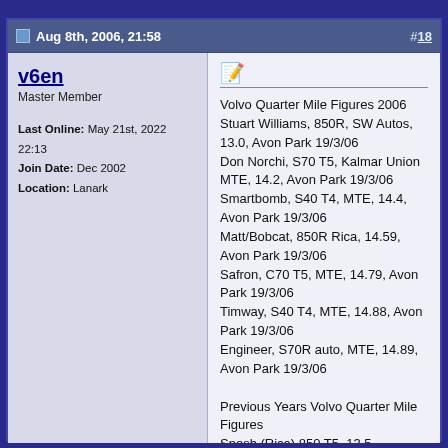Aug 8th, 2006, 21:58    #18
v6en
Master Member

Last Online: May 21st, 2022 22:13
Join Date: Dec 2002
Location: Lanark
Volvo Quarter Mile Figures 2006
Stuart Williams, 850R, SW Autos, 13.0, Avon Park 19/3/06
Don Norchi, S70 T5, Kalmar Union MTE, 14.2, Avon Park 19/3/06
Smartbomb, S40 T4, MTE, 14.4, Avon Park 19/3/06
Matt/Bobcat, 850R Rica, 14.59, Avon Park 19/3/06
Safron, C70 T5, MTE, 14.79, Avon Park 19/3/06
Timway, S40 T4, MTE, 14.88, Avon Park 19/3/06
Engineer, S70R auto, MTE, 14.89, Avon Park 19/3/06

Previous Years Volvo Quarter Mile Figures
Spesh (Rica) 850 T5, 13.5
Justin (Rica ECU) 855 T5, 14.2 Avon park
02/04/05~11am